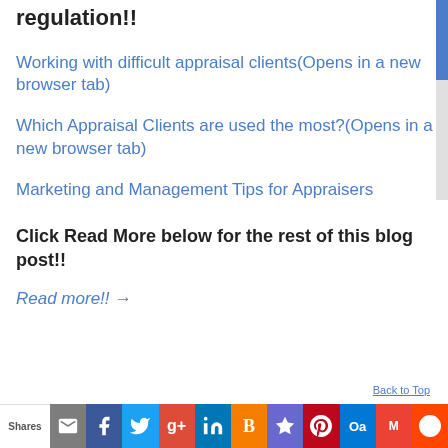regulation!!
Working with difficult appraisal clients(Opens in a new browser tab)
Which Appraisal Clients are used the most?(Opens in a new browser tab)
Marketing and Management Tips for Appraisers
Click Read More below for the rest of this blog post!!
Read more!! →
Back to Top
Shares | Email | Facebook | Twitter | Google+ | LinkedIn | Blogger | Star | Pinterest | Outlook | Gmail | Reddit